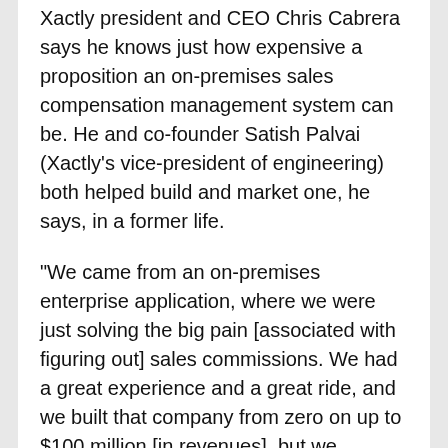Xactly president and CEO Chris Cabrera says he knows just how expensive a proposition an on-premises sales compensation management system can be. He and co-founder Satish Palvai (Xactly's vice-president of engineering) both helped build and market one, he says, in a former life.
"We came from an on-premises enterprise application, where we were just solving the big pain [associated with figuring out] sales commissions. We had a great experience and a great ride, and we built that company from zero on up to $100 million [in revenues], but we realized very quickly that the vast majority of companies just couldn't afford it," Cabrera indicates, citing licensing expenses, hardware expenses, implementation costs (and time-to-implementation), services or integration costs, and ongoing support and maintenance fees.